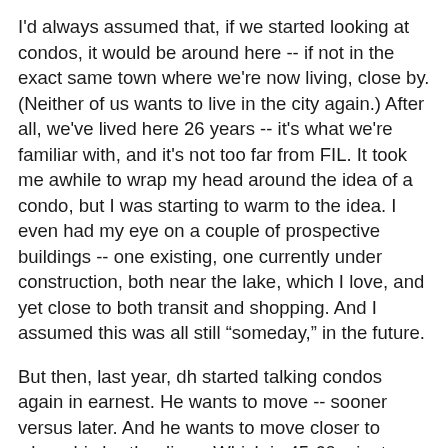I'd always assumed that, if we started looking at condos, it would be around here -- if not in the exact same town where we're now living, close by. (Neither of us wants to live in the city again.)  After all, we've lived here 26 years -- it's what we're familiar with, and it's not too far from FIL. It took me awhile to wrap my head around the idea of a condo, but I was starting to warm to the idea. I even had my eye on a couple of prospective buildings -- one existing, one currently under construction, both near the lake, which I love, and yet close to both transit and shopping.  And I assumed this was all still "someday," in the future.
But then, last year, dh started talking condos again in earnest. He wants to move -- sooner versus later. And he wants to move closer to where his brother lives. Which is 45-60 minutes from where we currently live -- on the other side of the city.
I have to admit, I was taken aback. (Initially, at least.)
Beyond the absence of snow to shovel and lawns to mow (and (hopefully) squirrels in the attic) -- dh misses his